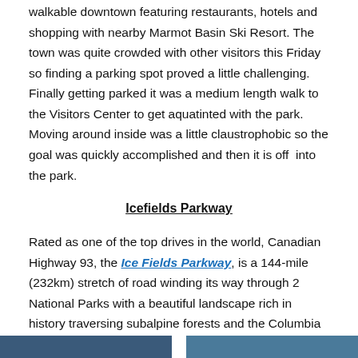walkable downtown featuring restaurants, hotels and shopping with nearby Marmot Basin Ski Resort. The town was quite crowded with other visitors this Friday so finding a parking spot proved a little challenging. Finally getting parked it was a medium length walk to the Visitors Center to get aquatinted with the park. Moving around inside was a little claustrophobic so the goal was quickly accomplished and then it is off  into the park.
Icefields Parkway
Rated as one of the top drives in the world, Canadian Highway 93, the Ice Fields Parkway, is a 144-mile (232km) stretch of road winding its way through 2 National Parks with a beautiful landscape rich in history traversing subalpine forests and the Columbia Icefield.
[Figure (photo): Bottom strip showing partial images of the Icefields Parkway scenery]